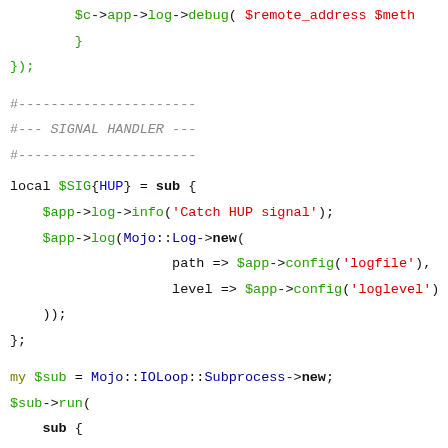Code snippet showing Perl/Mojolicious signal handler and subprocess code